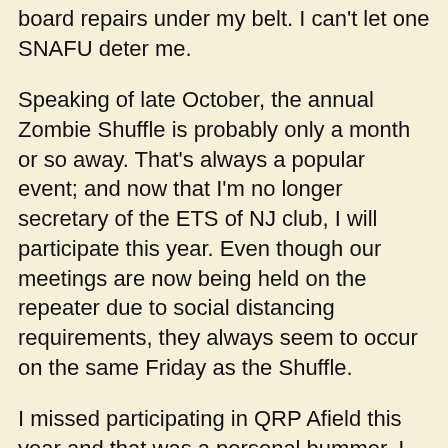board repairs under my belt. I can't let one SNAFU deter me.
Speaking of late October, the annual Zombie Shuffle is probably only a month or so away. That's always a popular event; and now that I'm no longer secretary of the ETS of NJ club, I will participate this year. Even though our meetings are now being held on the repeater due to social distancing requirements, they always seem to occur on the same Friday as the Shuffle.
I missed participating in QRP Afield this year and that was a personal bummer. I went for my annual physical on Saturday and at the same time received my annual flu shot. For some reason, the flu shot really kicked my butt this year - for the very first time, I might add. The arm in which I received the shot was sore all day, and it was almost like I was given a sedative. I ended up napping most of the afternoon away. That was really a shame as the weather was absolutely splendid and operating "portable" from the back yard would have been a real treat.
I also found out on Saturday that it was the day of the NJ QSO Party. Our ARRL Section Manager sent out an e-mail